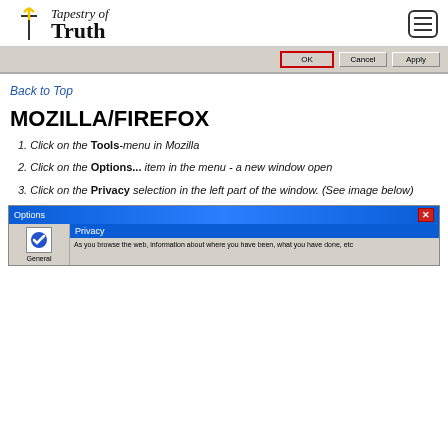Tapestry of Truth
[Figure (screenshot): Bottom portion of a Windows dialog box showing OK, Cancel, and Apply buttons, with OK button highlighted in red border]
Back to Top
MOZILLA/FIREFOX
1. Click on the Tools-menu in Mozilla
2. Click on the Options... item in the menu - a new window open
3. Click on the Privacy selection in the left part of the window. (See image below)
[Figure (screenshot): Firefox Options dialog window showing Privacy selected in the left panel, with a blue title bar reading 'Options' and an X close button]